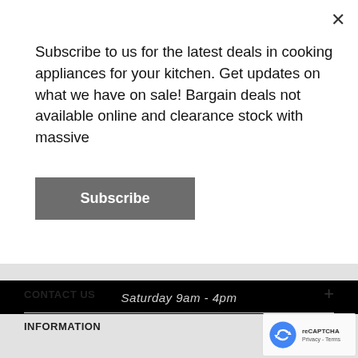Subscribe to us for the latest deals in cooking appliances for your kitchen. Get updates on what we have on sale! Bargain deals not available online and clearance stock with massive
Subscribe
Saturday 9am - 4pm
CONTACT US
INFORMATION
[Figure (logo): reCAPTCHA badge with Google logo, Privacy and Terms text]